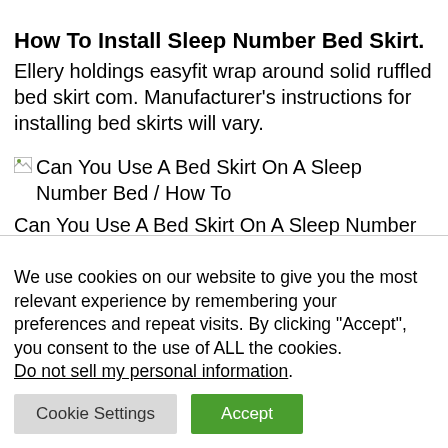How To Install Sleep Number Bed Skirt. Ellery holdings easyfit wrap around solid ruffled bed skirt com. Manufacturer's instructions for installing bed skirts will vary.
[Figure (illustration): Broken image placeholder with alt text: Can You Use A Bed Skirt On A Sleep Number Bed / How To]
Can You Use A Bed Skirt On A Sleep Number Bed / How To from santinacapella.blogspot.com
We use cookies on our website to give you the most relevant experience by remembering your preferences and repeat visits. By clicking “Accept”, you consent to the use of ALL the cookies. Do not sell my personal information.